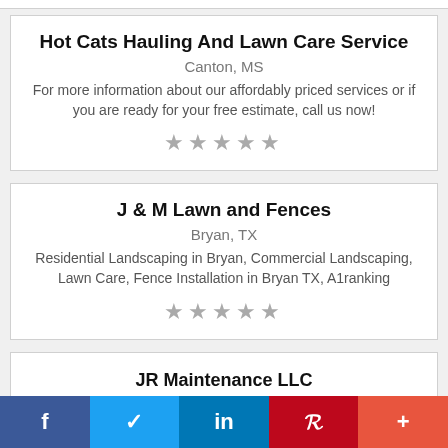Hot Cats Hauling And Lawn Care Service
Canton, MS
For more information about our affordably priced services or if you are ready for your free estimate, call us now!
[Figure (other): Five star rating (empty/grey stars)]
J & M Lawn and Fences
Bryan, TX
Residential Landscaping in Bryan, Commercial Landscaping, Lawn Care, Fence Installation in Bryan TX, A1ranking
[Figure (other): Five star rating (empty/grey stars)]
JR Maintenance LLC
Auburn, AL
f  ✓  in  P  +